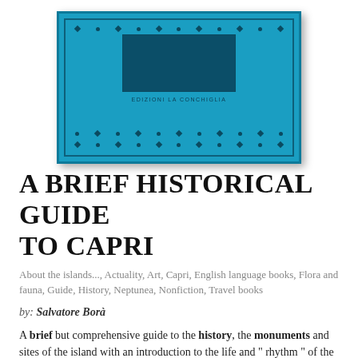[Figure (photo): Book cover of 'A Brief Historical Guide to Capri' published by Edizioni La Conchiglia, teal/cyan colored cover with ornamental border and a black and white photograph]
A BRIEF HISTORICAL GUIDE TO CAPRI
About the islands..., Actuality, Art, Capri, English language books, Flora and fauna, Guide, History, Neptunea, Nonfiction, Travel books
by: Salvatore Borà
A brief but comprehensive guide to the history, the monuments and sites of the island with an introduction to the life and " rhythm " of the island and a final chapter